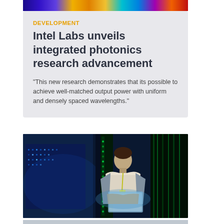[Figure (photo): Colorful photonics/spectrum image strip at the top of the article card]
DEVELOPMENT
Intel Labs unveils integrated photonics research advancement
"This new research demonstrates that its possible to achieve well-matched output power with uniform and densely spaced wavelengths."
[Figure (photo): Person working on a laptop inside a dark data center with blue and green glowing server racks]